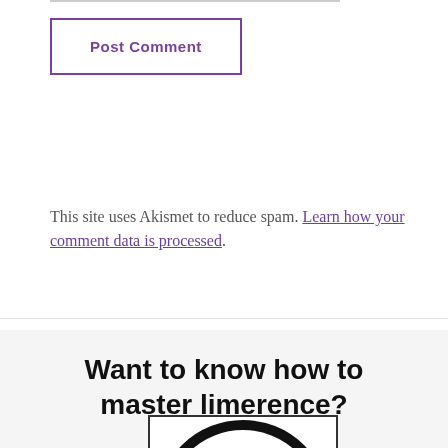Post Comment
This site uses Akismet to reduce spam. Learn how your comment data is processed.
Want to know how to master limerence?
[Figure (illustration): A circular target/brain illustration with concentric rings and a decorative brain icon at the center, shown inside a rectangular border]